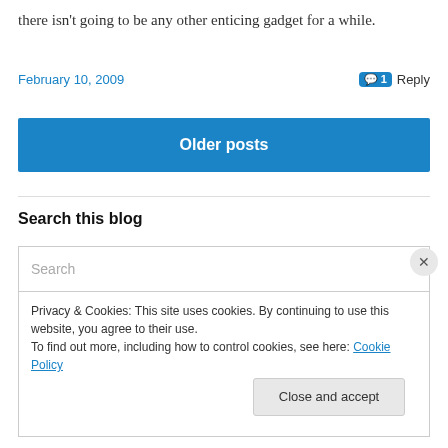there isn't going to be any other enticing gadget for a while.
February 10, 2009    1 Reply
Older posts
Search this blog
Search
Privacy & Cookies: This site uses cookies. By continuing to use this website, you agree to their use.
To find out more, including how to control cookies, see here: Cookie Policy
Close and accept